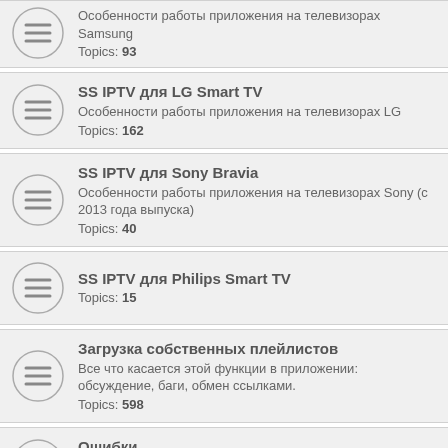Особенности работы приложения на телевизорах Samsung
Topics: 93
SS IPTV для LG Smart TV
Особенности работы приложения на телевизорах LG
Topics: 162
SS IPTV для Sony Bravia
Особенности работы приложения на телевизорах Sony (с 2013 года выпуска)
Topics: 40
SS IPTV для Philips Smart TV
Topics: 15
Загрузка собственных плейлистов
Все что касается этой функции в приложении: обсуждение, баги, обмен ссылками.
Topics: 598
Ошибки
Обсуждение ошибок, помощь в решении проблем.
Topics: 265
Провайдеры